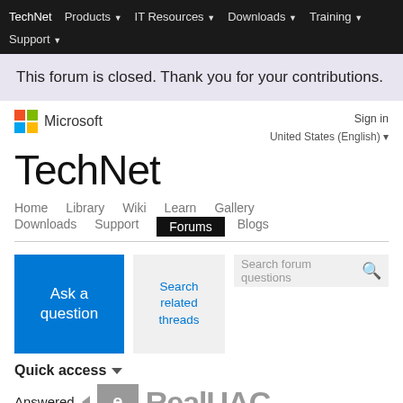TechNet  Products  IT Resources  Downloads  Training  Support
This forum is closed. Thank you for your contributions.
[Figure (logo): Microsoft logo with colored squares and 'Microsoft' text]
Sign in
United States (English)
TechNet
Home  Library  Wiki  Learn  Gallery  Downloads  Support  Forums  Blogs
Ask a question
Search related threads
Search forum questions
Quick access
Answered